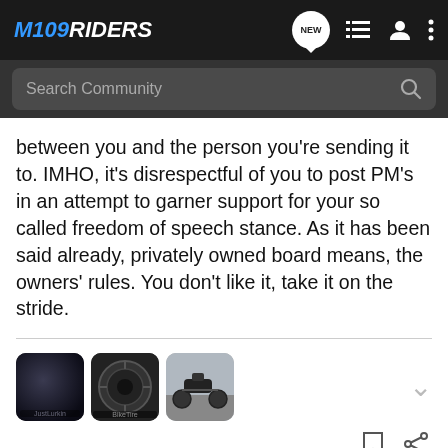M109Riders - navigation bar with search
between you and the person you're sending it to. IMHO, it's disrespectful of you to post PM's in an attempt to garner support for your so called freedom of speech stance. As it has been said already, privately owned board means, the owners' rules. You don't like it, take it on the stride.
[Figure (photo): Three user avatar thumbnails: dark abstract, dark motorcycle tire, motorcycle photo]
[Figure (screenshot): Chevrolet 2022 Silverado advertisement banner with Explore button and Chevrolet logo]